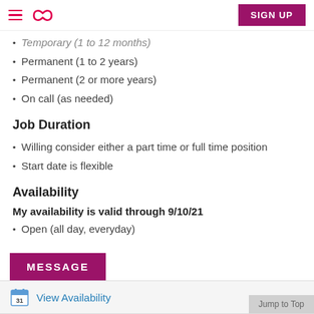Sittercity — SIGN UP
Temporary (1 to 12 months)
Permanent (1 to 2 years)
Permanent (2 or more years)
On call (as needed)
Job Duration
Willing consider either a part time or full time position
Start date is flexible
Availability
My availability is valid through 9/10/21
Open (all day, everyday)
MESSAGE
View Availability
Jump to Top